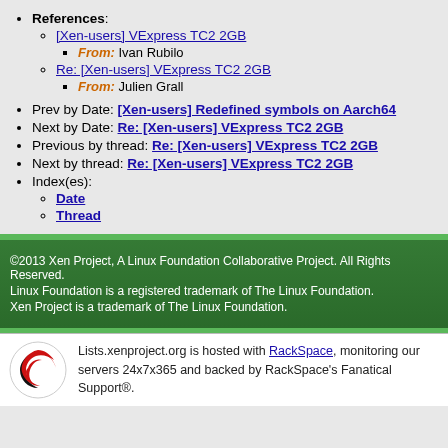References:
[Xen-users] VExpress TC2 2GB (link)
From: Ivan Rubilo
Re: [Xen-users] VExpress TC2 2GB (link)
From: Julien Grall
Prev by Date: [Xen-users] Redefined symbols on Aarch64
Next by Date: Re: [Xen-users] VExpress TC2 2GB
Previous by thread: Re: [Xen-users] VExpress TC2 2GB
Next by thread: Re: [Xen-users] VExpress TC2 2GB
Index(es):
Date
Thread
©2013 Xen Project, A Linux Foundation Collaborative Project. All Rights Reserved. Linux Foundation is a registered trademark of The Linux Foundation. Xen Project is a trademark of The Linux Foundation.
Lists.xenproject.org is hosted with RackSpace, monitoring our servers 24x7x365 and backed by RackSpace's Fanatical Support®.